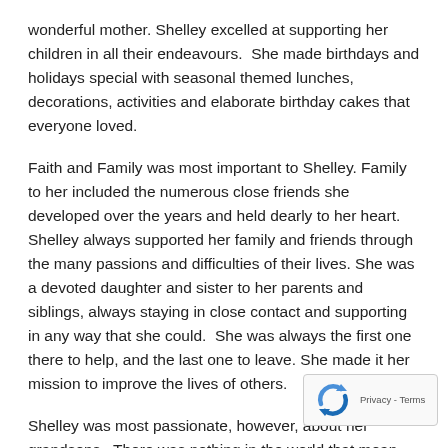wonderful mother. Shelley excelled at supporting her children in all their endeavours.  She made birthdays and holidays special with seasonal themed lunches, decorations, activities and elaborate birthday cakes that everyone loved.
Faith and Family was most important to Shelley. Family to her included the numerous close friends she developed over the years and held dearly to her heart. Shelley always supported her family and friends through the many passions and difficulties of their lives. She was a devoted daughter and sister to her parents and siblings, always staying in close contact and supporting in any way that she could.  She was always the first one there to help, and the last one to leave. She made it her mission to improve the lives of others.
Shelley was most passionate, however, about her grandsons.  There was nothing in the world that mean more to her than her boys.  She showed them